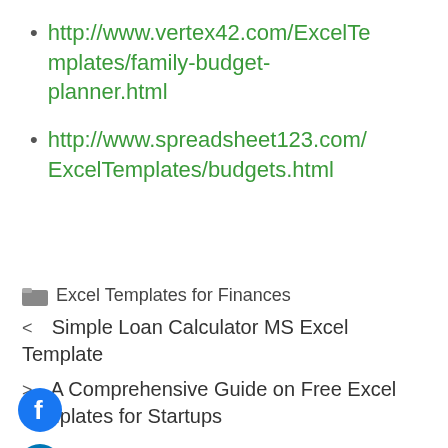http://www.vertex42.com/ExcelTemplates/family-budget-planner.html
http://www.spreadsheet123.com/ExcelTemplates/budgets.html
Excel Templates for Finances
< Simple Loan Calculator MS Excel Template
> A Comprehensive Guide on Free Excel Templates for Startups
[Figure (logo): Facebook social media icon - blue circle with white 'f' letter]
[Figure (logo): LinkedIn social media icon - blue circle with white 'in' text]